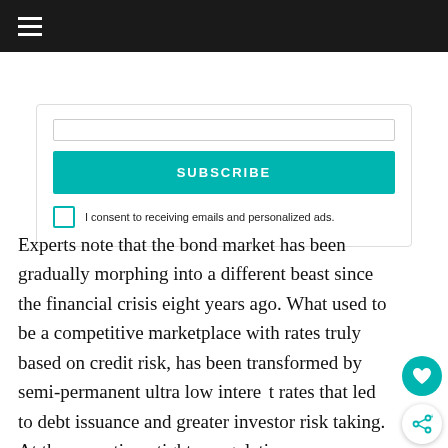≡
[Figure (screenshot): Subscribe form with teal SUBSCRIBE button and consent checkbox]
I consent to receiving emails and personalized ads.
Experts note that the bond market has been gradually morphing into a different beast since the financial crisis eight years ago. What used to be a competitive marketplace with rates truly based on credit risk, has been transformed by semi-permanent ultra low interest rates that led to debt issuance and greater investor risk taking. At the same time, tighter regulations are constraining financial institutions, and the rapid increase